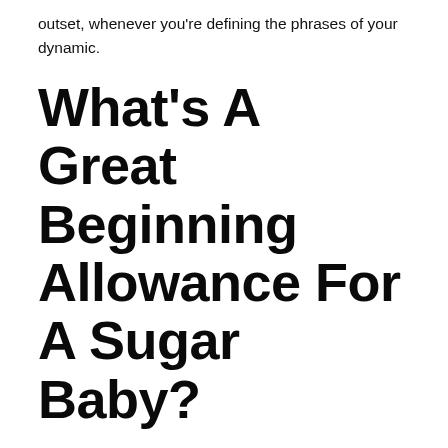outset, whenever you're defining the phrases of your dynamic.
What's A Great Beginning Allowance For A Sugar Baby?
In a wealthy city like New York, it's not uncommon for a child to get an allowance of $3,000. Naturally, a smaller metropolis or rural space would not go on the same price. It's also